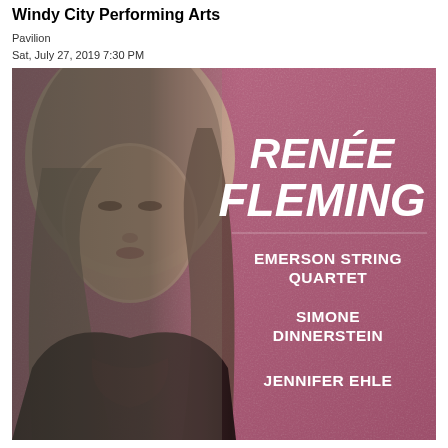Windy City Performing Arts
Pavilion
Sat, July 27, 2019 7:30 PM
[Figure (photo): Concert promotional poster showing a black-and-white portrait of Renée Fleming (a woman with long blonde hair) on a mauve/rose textured background. Text on the right side lists performers: RENÉE FLEMING, EMERSON STRING QUARTET, SIMONE DINNERSTEIN, JENNIFER EHLE.]